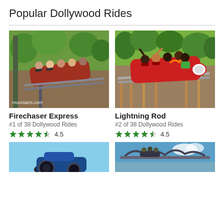Popular Dollywood Rides
[Figure (photo): Firechaser Express roller coaster with riders going through a curve, green trees in background. Watermark: mountains.com]
Firechaser Express
#1 of 38 Dollywood Rides
4.5 stars
[Figure (photo): Lightning Rod wooden roller coaster with riders in a red hot rod themed car, hands raised, wooded hillside background]
Lightning Rod
#2 of 38 Dollywood Rides
4.5 stars
[Figure (photo): Partial view of a ride (bottom of page, left), blue sky background]
[Figure (photo): Partial view of a roller coaster (bottom of page, right), blue sky with clouds]